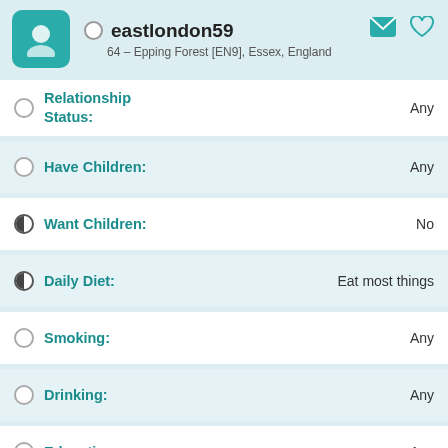eastlondon59 — 64 – Epping Forest [EN9], Essex, England
Relationship Status: Any
Have Children: Any
Want Children: No
Daily Diet: Eat most things
Smoking: Any
Drinking: Any
Education: Any
Occupation: Any